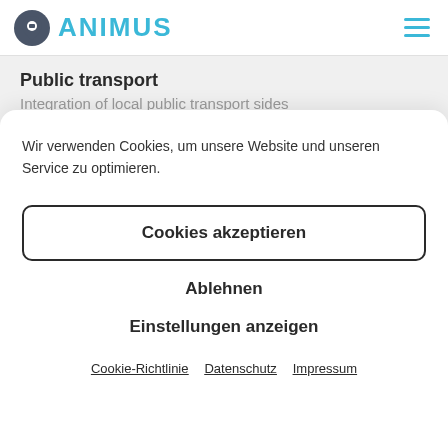ANIMUS
Public transport
Integration of local public transport sides
Wir verwenden Cookies, um unsere Website und unseren Service zu optimieren.
Cookies akzeptieren
Ablehnen
Einstellungen anzeigen
Cookie-Richtlinie   Datenschutz   Impressum